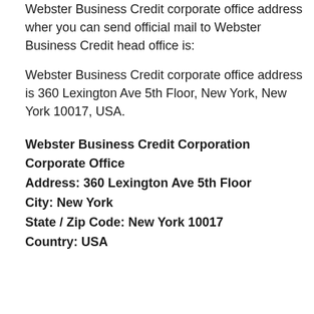Webster Business Credit corporate office address wher you can send official mail to Webster Business Credit head office is:
Webster Business Credit corporate office address is 360 Lexington Ave 5th Floor, New York, New York 10017, USA.
Webster Business Credit Corporation Corporate Office
Address: 360 Lexington Ave 5th Floor
City: New York
State / Zip Code: New York 10017
Country: USA